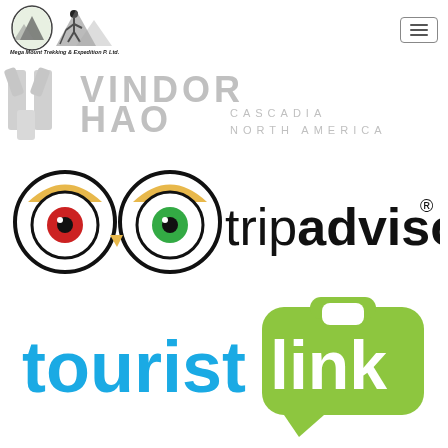[Figure (logo): Mega Mount Trekking & Expedition P. Ltd. logo with mountain and hiker silhouette, with hamburger menu icon on the right]
[Figure (logo): Vindor Hao Cascadia North America logo in grey text]
[Figure (logo): TripAdvisor logo with owl icon in black and yellow/green]
[Figure (logo): Touristlink logo with blue and green text and briefcase icon]